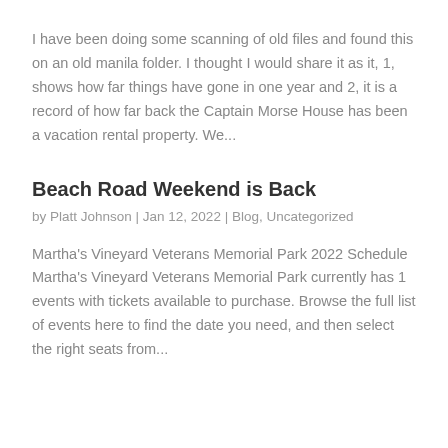I have been doing some scanning of old files and found this on an old manila folder. I thought I would share it as it, 1, shows how far things have gone in one year and 2, it is a record of how far back the Captain Morse House has been a vacation rental property. We...
Beach Road Weekend is Back
by Platt Johnson | Jan 12, 2022 | Blog, Uncategorized
Martha's Vineyard Veterans Memorial Park 2022 Schedule Martha's Vineyard Veterans Memorial Park currently has 1 events with tickets available to purchase. Browse the full list of events here to find the date you need, and then select the right seats from...